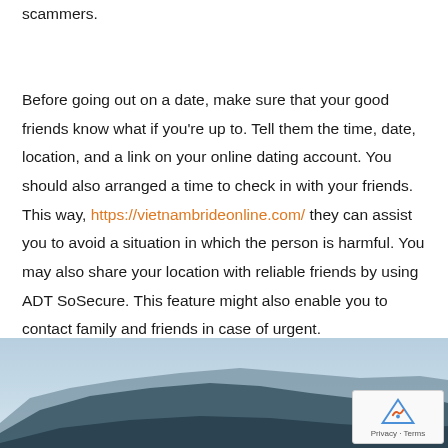scammers.

Before going out on a date, make sure that your good friends know what if you're up to. Tell them the time, date, location, and a link on your online dating account. You should also arranged a time to check in with your friends. This way, https://vietnambrideonline.com/ they can assist you to avoid a situation in which the person is harmful. You may also share your location with reliable friends by using ADT SoSecure. This feature might also enable you to contact family and friends in case of urgent.
[Figure (photo): Mountain landscape photo showing blue mountains against a hazy sky, partially cropped at bottom of page. A reCAPTCHA badge appears in the bottom right corner.]